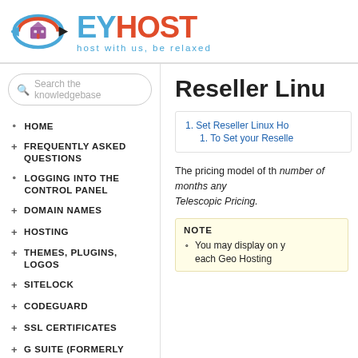[Figure (logo): EyHost logo with circular arrow emblem and tagline 'host with us, be relaxed']
Search the knowledgebase
HOME
FREQUENTLY ASKED QUESTIONS
LOGGING INTO THE CONTROL PANEL
DOMAIN NAMES
HOSTING
THEMES, PLUGINS, LOGOS
SITELOCK
CODEGUARD
SSL CERTIFICATES
G SUITE (FORMERLY GOOGLE APPS FOR WORK)
Reseller Linu
Set Reseller Linux Ho
To Set your Reselle
The pricing model of th number of months any Telescopic Pricing.
NOTE
You may display on y each Geo Hosting